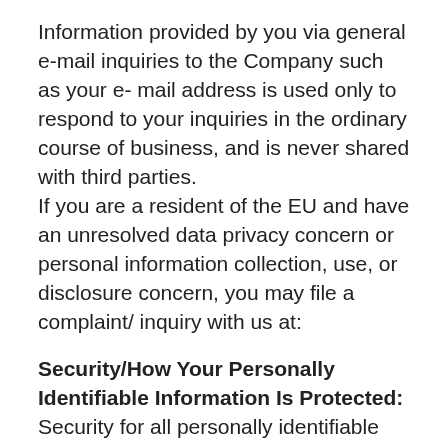Information provided by you via general e-mail inquiries to the Company such as your e- mail address is used only to respond to your inquiries in the ordinary course of business, and is never shared with third parties.
If you are a resident of the EU and have an unresolved data privacy concern or personal information collection, use, or disclosure concern, you may file a complaint/ inquiry with us at:
Security/How Your Personally Identifiable Information Is Protected: Security for all personally identifiable information is extremely important to us. We have implemented technical, administrative and physical security measures to attempt to protect your personally identifiable information from unauthorized access and improper use. We also protect your personally identifiable information offline. Only